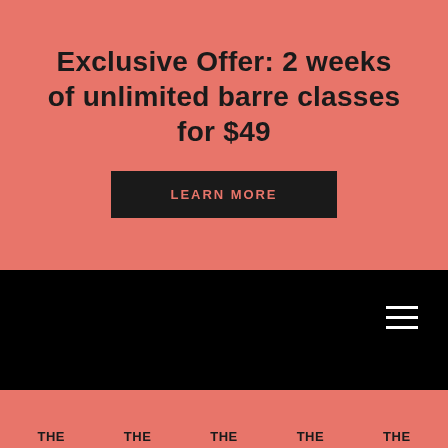Exclusive Offer: 2 weeks of unlimited barre classes for $49
LEARN MORE
[Figure (screenshot): Black navigation bar with hamburger menu icon (three white horizontal lines) in upper right]
THE METHOD  THE LIFESTYLE  THE LOOK  THE COMMUNITY  THE STORIES
THE LIFESTYLE